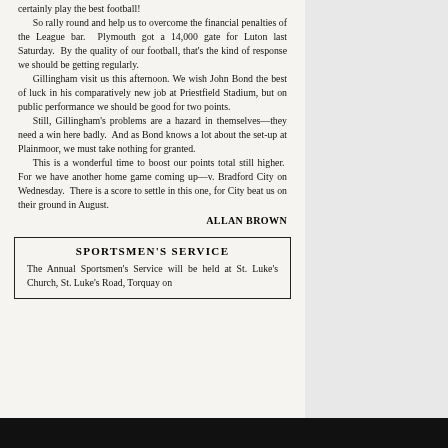certainly play the best football!

So rally round and help us to overcome the financial penalties of the League bar. Plymouth got a 14,000 gate for Luton last Saturday. By the quality of our football, that's the kind of response we should be getting regularly.

Gillingham visit us this afternoon. We wish John Bond the best of luck in his comparatively new job at Priestfield Stadium, but on public performance we should be good for two points.

Still, Gillingham's problems are a hazard in themselves—they need a win here badly. And as Bond knows a lot about the set-up at Plainmoor, we must take nothing for granted.

This is a wonderful time to boost our points total still higher. For we have another home game coming up—v. Bradford City on Wednesday. There is a score to settle in this one, for City beat us on their ground in August.
ALLAN BROWN
SPORTSMEN'S SERVICE
The Annual Sportsmen's Service will be held at St. Luke's Church, St. Luke's Road, Torquay on